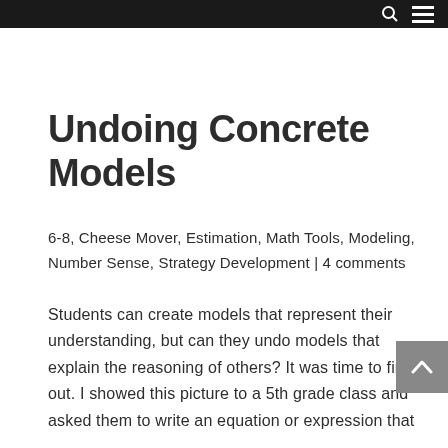Undoing Concrete Models
6-8, Cheese Mover, Estimation, Math Tools, Modeling, Number Sense, Strategy Development | 4 comments
Students can create models that represent their understanding, but can they undo models that explain the reasoning of others?  It was time to find out.  I showed this picture to a 5th grade class and asked them to write an equation or expression that